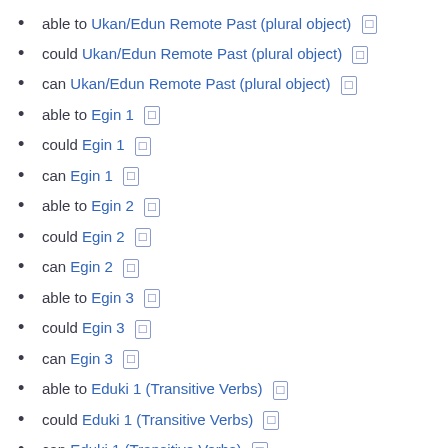able to Ukan/Edun Remote Past (plural object) □
could Ukan/Edun Remote Past (plural object) □
can Ukan/Edun Remote Past (plural object) □
able to Egin 1 □
could Egin 1 □
can Egin 1 □
able to Egin 2 □
could Egin 2 □
can Egin 2 □
able to Egin 3 □
could Egin 3 □
can Egin 3 □
able to Eduki 1 (Transitive Verbs) □
could Eduki 1 (Transitive Verbs) □
can Eduki 1 (Transitive Verbs) □
able to Eduki 2 (Transitive Verbs) □